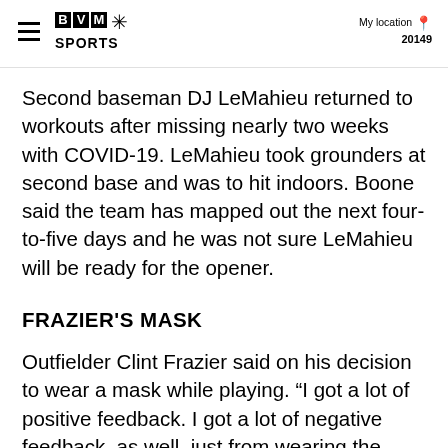BVM SPORTS | My location 20149
Second baseman DJ LeMahieu returned to workouts after missing nearly two weeks with COVID-19. LeMahieu took grounders at second base and was to hit indoors. Boone said the team has mapped out the next four-to-five days and he was not sure LeMahieu will be ready for the opener.
FRAZIER'S MASK
Outfielder Clint Frazier said on his decision to wear a mask while playing. “I got a lot of positive feedback. I got a lot of negative feedback, as well, just from wearing the mask. A lot of people have their own opinions,” he